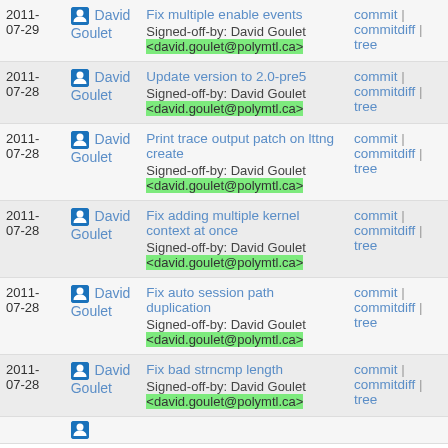| Date | Author | Commit | Links |
| --- | --- | --- | --- |
| 2011-07-29 | David Goulet | Fix multiple enable events
Signed-off-by: David Goulet <david.goulet@polymtl.ca> | commit | commitdiff | tree |
| 2011-07-28 | David Goulet | Update version to 2.0-pre5
Signed-off-by: David Goulet <david.goulet@polymtl.ca> | commit | commitdiff | tree |
| 2011-07-28 | David Goulet | Print trace output patch on lttng create
Signed-off-by: David Goulet <david.goulet@polymtl.ca> | commit | commitdiff | tree |
| 2011-07-28 | David Goulet | Fix adding multiple kernel context at once
Signed-off-by: David Goulet <david.goulet@polymtl.ca> | commit | commitdiff | tree |
| 2011-07-28 | David Goulet | Fix auto session path duplication
Signed-off-by: David Goulet <david.goulet@polymtl.ca> | commit | commitdiff | tree |
| 2011-07-28 | David Goulet | Fix bad strncmp length
Signed-off-by: David Goulet <david.goulet@polymtl.ca> | commit | commitdiff | tree |